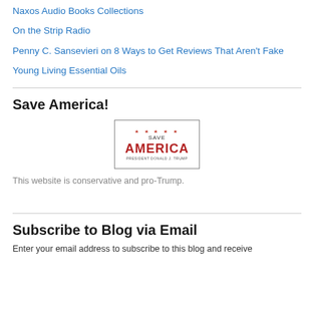Naxos Audio Books Collections
On the Strip Radio
Penny C. Sansevieri on 8 Ways to Get Reviews That Aren't Fake
Young Living Essential Oils
Save America!
[Figure (logo): Save America logo with stars at top, text 'SAVE' above 'AMERICA' in red bold letters, and 'PRESIDENT DONALD J. TRUMP' below in small text, inside a rectangular border]
This website is conservative and pro-Trump.
Subscribe to Blog via Email
Enter your email address to subscribe to this blog and receive